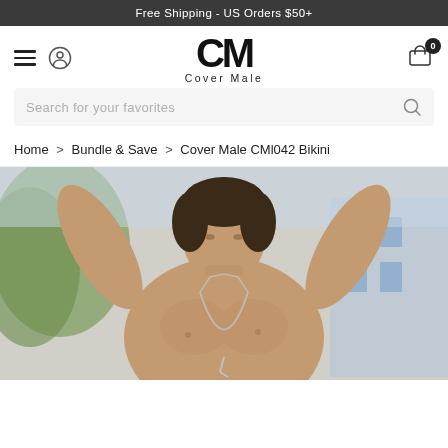Free Shipping - US Orders $50+
[Figure (screenshot): Cover Male website navigation with hamburger menu, user icon, CM logo, and cart icon with badge 0]
Search for your favorites
Home > Bundle & Save > Cover Male CMl042 Bikini
[Figure (photo): Shirtless male model with arms raised, wearing a silver chain necklace, photographed outdoors]